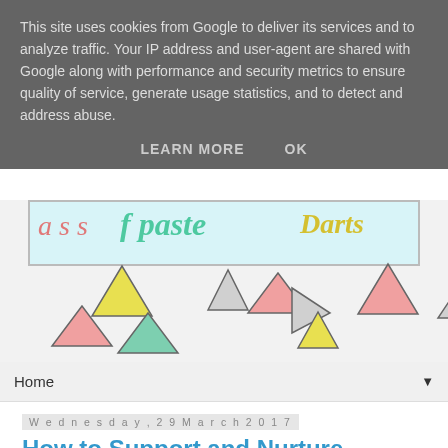This site uses cookies from Google to deliver its services and to analyze traffic. Your IP address and user-agent are shared with Google along with performance and security metrics to ensure quality of service, generate usage statistics, and to detect and address abuse.
LEARN MORE   OK
[Figure (illustration): Colorful blog banner with decorative triangles in pink, yellow, grey, teal/green colors scattered around a light blue header box with cursive/script text in red, green, and yellow.]
Home ▼
Wednesday, 29 March 2017
How to Support and Nurture Introverted Students
Our school system is designed for extroverts. Learning takes place in large groups, with participation and collaboration n...